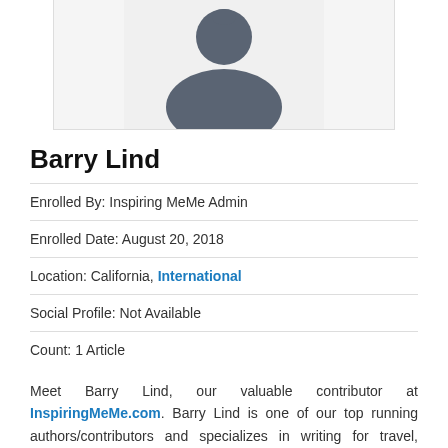[Figure (illustration): Generic user avatar/profile placeholder image showing a silhouette of a person (head and shoulders) in dark grey on a light grey background]
Barry Lind
Enrolled By: Inspiring MeMe Admin
Enrolled Date: August 20, 2018
Location: California, International
Social Profile: Not Available
Count: 1 Article
Meet Barry Lind, our valuable contributor at InspiringMeMe.com. Barry Lind is one of our top running authors/contributors and specializes in writing for travel, technology, literature and lifestyle articles among others. Enrolled on August 20, 2018 by Inspiring MeMe Admin, the rich years of experience in the industry has nurtured our